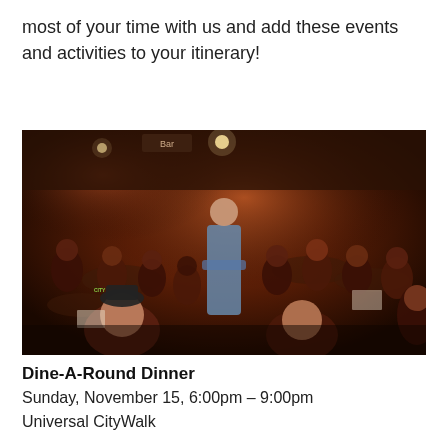most of your time with us and add these events and activities to your itinerary!
[Figure (photo): A large group of people seated at tables in a restaurant or bar setting with red ambient lighting. One man stands in the center with arms crossed, smiling. The background shows a bar area. The atmosphere is casual and social.]
Dine-A-Round Dinner
Sunday, November 15, 6:00pm – 9:00pm
Universal CityWalk